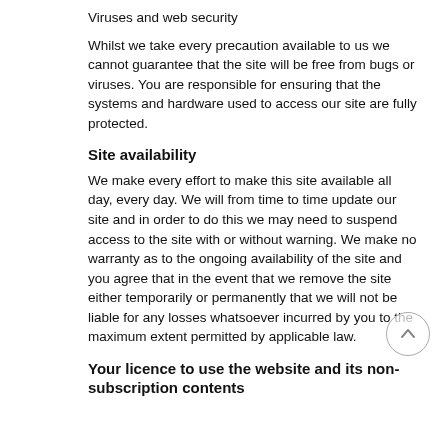Viruses and web security
Whilst we take every precaution available to us we cannot guarantee that the site will be free from bugs or viruses. You are responsible for ensuring that the systems and hardware used to access our site are fully protected.
Site availability
We make every effort to make this site available all day, every day. We will from time to time update our site and in order to do this we may need to suspend access to the site with or without warning. We make no warranty as to the ongoing availability of the site and you agree that in the event that we remove the site either temporarily or permanently that we will not be liable for any losses whatsoever incurred by you to the maximum extent permitted by applicable law.
Your licence to use the website and its non-subscription contents